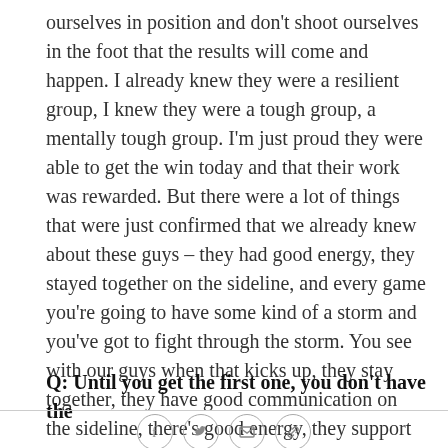ourselves in position and don't shoot ourselves in the foot that the results will come and happen. I already knew they were a resilient group, I knew they were a tough group, a mentally tough group. I'm just proud they were able to get the win today and that their work was rewarded. But there were a lot of things that were just confirmed that we already knew about these guys – they had good energy, they stayed together on the sideline, and every game you're going to have some kind of a storm and you've got to fight through the storm. You see with our guys when that kicks up, they stay together, they have good communication on the sideline, there's good energy, they support each other. I'm proud of the way they stick together.
Q: Until you get the first one, you don't have the
[Figure (other): Social sharing icons: Facebook, Twitter, Email, Link]